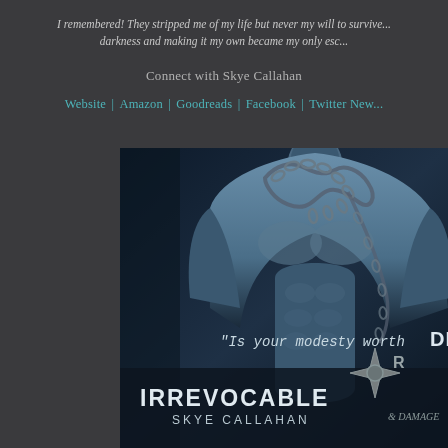I remembered! They stripped me of my life but never my will to survive... darkness and making it my own became my only esc...
Connect with Skye Callahan
Website | Amazon | Goodreads | Facebook | Twitter New...
[Figure (photo): Book cover for 'Irrevocable' by Skye Callahan showing a muscular man with chains around his neck against a dark blue background, with the text 'Is your modesty worth DEATH' and a logo for Fire & Damage publisher]